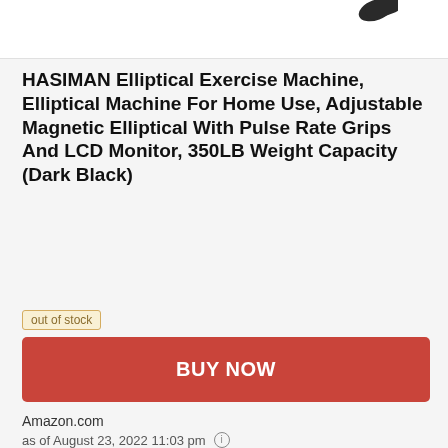[Figure (photo): Partial product image of elliptical machine handle/grip at top of page]
HASIMAN Elliptical Exercise Machine, Elliptical Machine For Home Use, Adjustable Magnetic Elliptical With Pulse Rate Grips And LCD Monitor, 350LB Weight Capacity (Dark Black)
out of stock
BUY NOW
Amazon.com
as of August 23, 2022 11:03 pm ⓘ
Features
| Warranty |  |
| --- | --- |
| Warranty | F39503 |